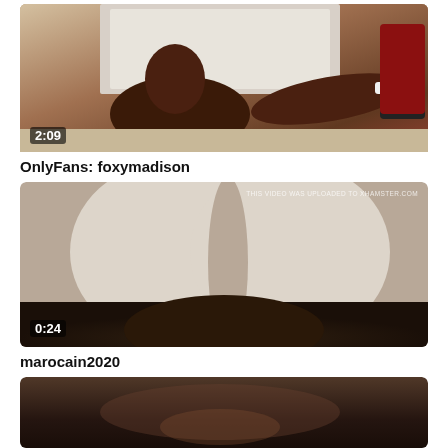[Figure (photo): Video thumbnail showing a person, duration overlay 2:09]
OnlyFans: foxymadison
[Figure (photo): Video thumbnail with watermark 'THIS VIDEO WAS UPLOADED TO XHAMSTER.COM', duration overlay 0:24]
marocain2020
[Figure (photo): Partial video thumbnail, dark brown tones]